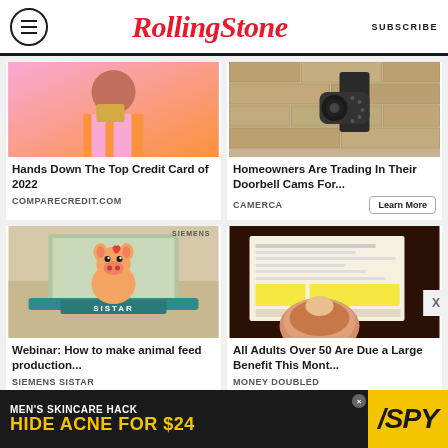RollingStone | SUBSCRIBE
[Figure (photo): Woman with short dark hair in orange striped shirt holding a card, pink background]
Hands Down The Top Credit Card of 2022
COMPARECREDIT.COM
[Figure (photo): Security camera mounted on stone wall]
Homeowners Are Trading In Their Doorbell Cams For...
CAMERCA
Learn More
[Figure (illustration): Illustrated pig behind desk with SISTAR sign, Siemens branded ad]
Webinar: How to make animal feed production...
SIEMENS SISTAR
[Figure (photo): Person holding a check document]
All Adults Over 50 Are Due a Large Benefit This Mont...
MONEY DOUBLED
[Figure (infographic): Bottom banner ad: MEN'S SKINCARE HACK HIDE ACNE FOR $24 with SPY logo]